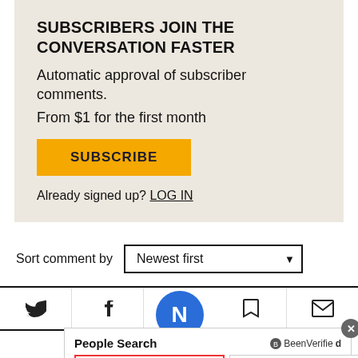SUBSCRIBERS JOIN THE CONVERSATION FASTER
Automatic approval of subscriber comments.
From $1 for the first month
SUBSCRIBE
Already signed up? LOG IN
Sort comment by  Newest first
[Figure (screenshot): Navigation icon bar with Twitter, Facebook, bookmark, and email icons, with a blue circular N logo in the center]
[Figure (screenshot): People Search ad widget by BeenVerified with First Name and Last Name input fields and a Search button]